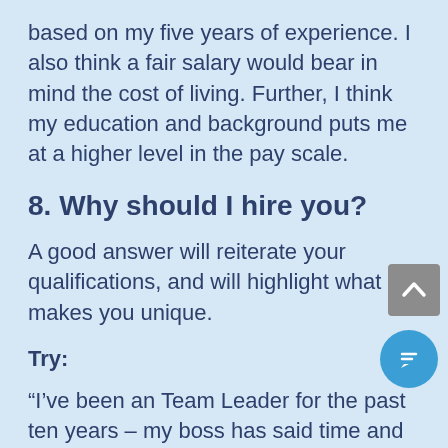based on my five years of experience. I also think a fair salary would bear in mind the cost of living. Further, I think my education and background puts me at a higher level in the pay scale.
8. Why should I hire you?
A good answer will reiterate your qualifications, and will highlight what makes you unique.
Try:
“I’ve been an Team Leader for the past ten years – my boss has said time and time again that without me, the team would fall apart. I’ve also taken the time